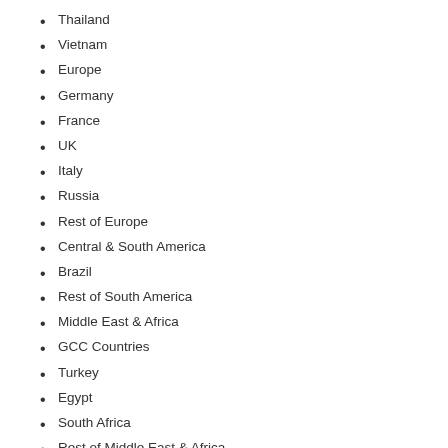Thailand
Vietnam
Europe
Germany
France
UK
Italy
Russia
Rest of Europe
Central & South America
Brazil
Rest of South America
Middle East & Africa
GCC Countries
Turkey
Egypt
South Africa
Rest of Middle East & Africa
The study objectives are:
To analyze and research the global Butyl Rubber capacity, production, value, consumption, status and forecast;
To focus on the key Butyl Rubber manufacturers and study the capacity, production, value, market share and